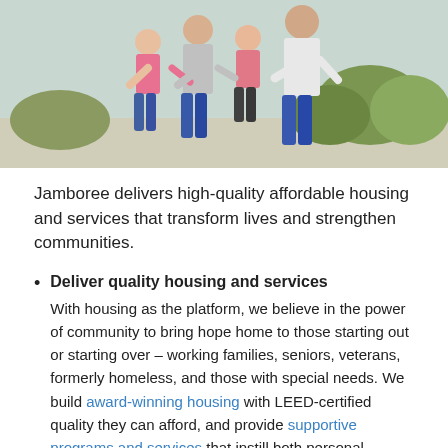[Figure (photo): Group of children standing together outdoors on a sidewalk, near greenery and landscaping.]
Jamboree delivers high-quality affordable housing and services that transform lives and strengthen communities.
Deliver quality housing and services
With housing as the platform, we believe in the power of community to bring hope home to those starting out or starting over – working families, seniors, veterans, formerly homeless, and those with special needs. We build award-winning housing with LEED-certified quality they can afford, and provide supportive programs and services that instill both personal accomplishment and community pride.
Leverage resources